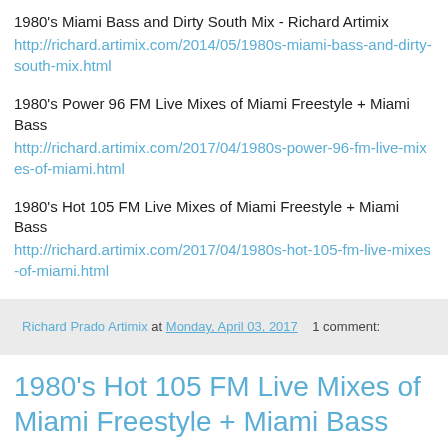1980's Miami Bass and Dirty South Mix - Richard Artimix
http://richard.artimix.com/2014/05/1980s-miami-bass-and-dirty-south-mix.html
1980's Power 96 FM Live Mixes of Miami Freestyle + Miami Bass
http://richard.artimix.com/2017/04/1980s-power-96-fm-live-mixes-of-miami.html
1980's Hot 105 FM Live Mixes of Miami Freestyle + Miami Bass
http://richard.artimix.com/2017/04/1980s-hot-105-fm-live-mixes-of-miami.html
Richard Prado Artimix at Monday, April 03, 2017   1 comment:
1980's Hot 105 FM Live Mixes of Miami Freestyle + Miami Bass